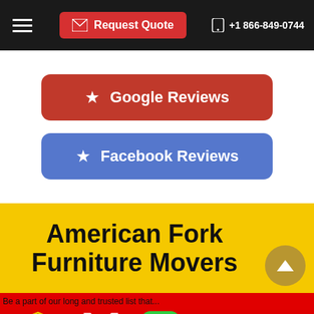Request Quote  +1 866-849-0744
[Figure (screenshot): Google Reviews button - dark red rounded rectangle with star icon and text 'Google Reviews']
[Figure (screenshot): Facebook Reviews button - blue rounded rectangle with star icon and text 'Facebook Reviews']
American Fork Furniture Movers
Read Our Reviews (badge), dollar sign icon, phone icon, clock icon, chat icon